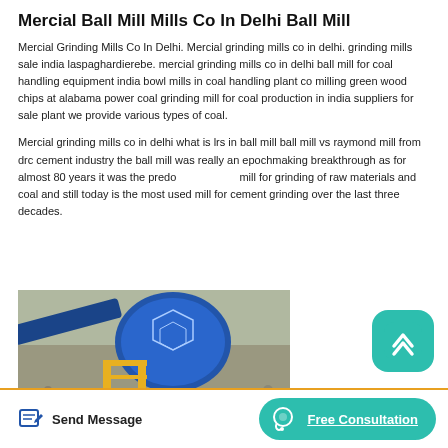Mercial Ball Mill Mills Co In Delhi Ball Mill
Mercial Grinding Mills Co In Delhi. Mercial grinding mills co in delhi. grinding mills sale india laspaghardierebe. mercial grinding mills co in delhi ball mill for coal handling equipment india bowl mills in coal handling plant co milling green wood chips at alabama power coal grinding mill for coal production in india suppliers for sale plant we provide various types of coal.
Mercial grinding mills co in delhi what is lrs in ball mill ball mill vs raymond mill from drc cement industry the ball mill was really an epochmaking breakthrough as for almost 80 years it was the predominant mill for grinding of raw materials and coal and still today is the most used mill for cement grinding over the last three decades.
[Figure (photo): Industrial ball mill / grinding equipment with blue machinery and yellow platform structures, surrounded by aggregate/gravel material at a mining or construction site.]
Send Message
Free Consultation